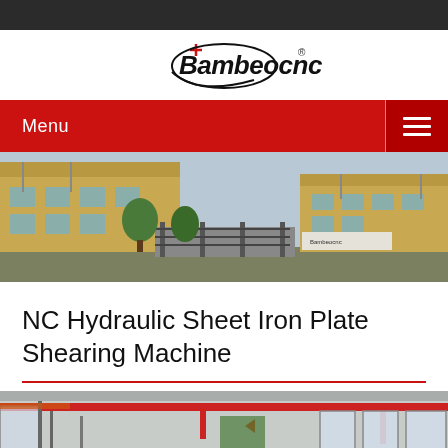[Figure (logo): Bambeocnc logo with red cross and circular swoosh, bold italic text]
[Figure (photo): Factory building exterior — yellow industrial buildings with gate, trees, Chinese signage for Bambeocnc CNC machine tool company]
NC Hydraulic Sheet Iron Plate Shearing Machine
[Figure (photo): Interior of factory/workshop showing overhead crane, large windows, industrial space with red beam overhead]